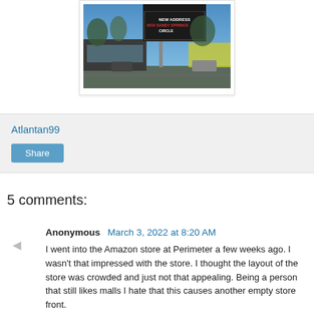[Figure (photo): Outdoor photo of a commercial building with a marquee sign reading 'NEW ADDRESS 6010 SANDY SPRINGS CIRCLE', blue sky and trees in background, parking lot with cars visible.]
Atlantan99
Share
5 comments:
Anonymous March 3, 2022 at 8:20 AM
I went into the Amazon store at Perimeter a few weeks ago. I wasn't that impressed with the store. I thought the layout of the store was crowded and just not that appealing. Being a person that still likes malls I hate that this causes another empty store front.